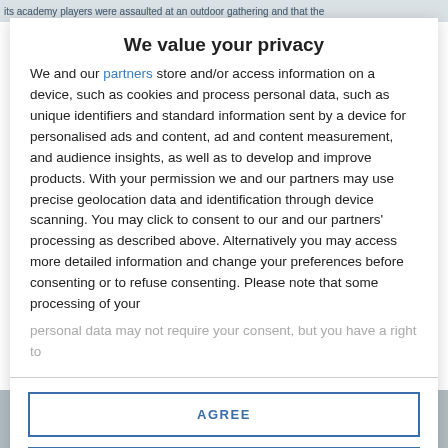its academy players were assaulted at an outdoor gathering and that the
We value your privacy
We and our partners store and/or access information on a device, such as cookies and process personal data, such as unique identifiers and standard information sent by a device for personalised ads and content, ad and content measurement, and audience insights, as well as to develop and improve products. With your permission we and our partners may use precise geolocation data and identification through device scanning. You may click to consent to our and our partners' processing as described above. Alternatively you may access more detailed information and change your preferences before consenting or to refuse consenting. Please note that some processing of your personal data may not require your consent, but you have a right to
AGREE
MORE OPTIONS